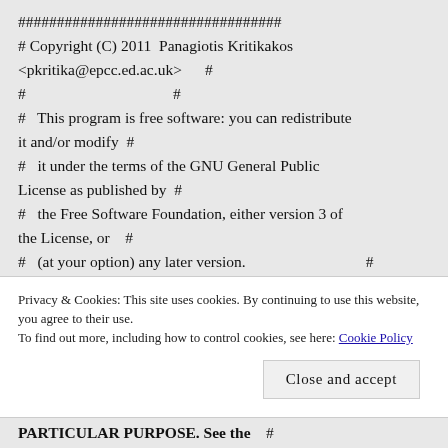##################################
# Copyright (C) 2011  Panagiotis Kritikakos
<pkritika@epcc.ed.ac.uk>      #
#                                      #
#   This program is free software: you can redistribute it and/or modify  #
#   it under the terms of the GNU General Public License as published by  #
#   the Free Software Foundation, either version 3 of the License, or   #
#   (at your option) any later version.                               #
#                                      #
Privacy & Cookies: This site uses cookies. By continuing to use this website, you agree to their use.
To find out more, including how to control cookies, see here: Cookie Policy
Close and accept
PARTICULAR PURPOSE. See the     #